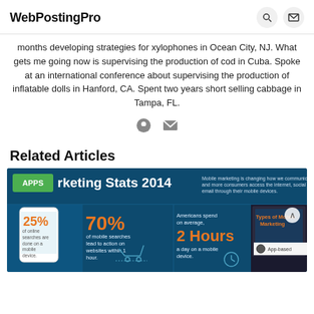WebPostingPro
months developing strategies for xylophones in Ocean City, NJ. What gets me going now is supervising the production of cod in Cuba. Spoke at an international conference about supervising the production of inflatable dolls in Hanford, CA. Spent two years short selling cabbage in Tampa, FL.
Related Articles
[Figure (infographic): Mobile Marketing Stats 2014 infographic showing: APPS label, 25% of online searches are done on a mobile device, 70% of mobile searches lead to action on websites within 1 hour, Americans spend on average 2 Hours a day on a mobile device, Types of Mobile Marketing - App-based. Blue background with orange/yellow text accents.]